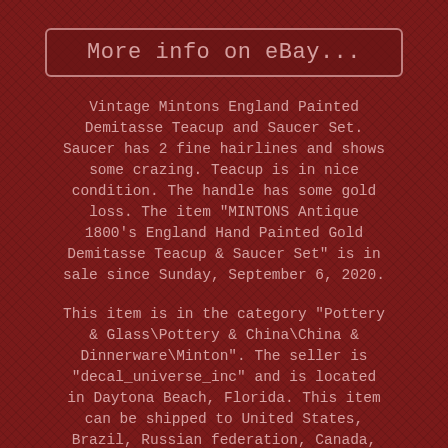[Figure (screenshot): Button with text 'More info on eBay...' styled with a dark red border on a dark red background]
Vintage Mintons England Painted Demitasse Teacup and Saucer Set. Saucer has 2 fine hairlines and shows some crazing. Teacup is in nice condition. The handle has some gold loss. The item "MINTONS Antique 1800's England Hand Painted Gold Demitasse Teacup & Saucer Set" is in sale since Sunday, September 6, 2020.
This item is in the category "Pottery & Glass\Pottery & China\China & Dinnerware\Minton". The seller is "decal_universe_inc" and is located in Daytona Beach, Florida. This item can be shipped to United States, Brazil, Russian federation, Canada, United Kingdom, Denmark, Romania, Slovakia, Bulgaria, Czech republic, Finland, Hungary, Latvia, Lithuania, Malta, Estonia, Australia, Greece